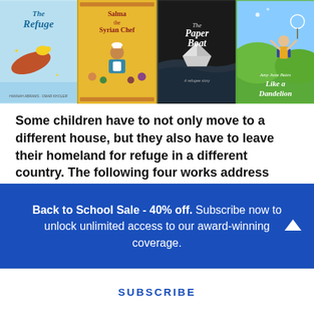[Figure (illustration): Four children's book covers displayed side by side: 'The Refuge' (light blue/yellow background with illustrated bird and leaf), 'Salma the Syrian Chef' (golden background with illustrated chef and children), 'The Paper Boat' (dark background with paper boat illustration and subtitle 'A refugee story'), 'Like a Dandelion' (green background with child figure and dandelion)]
Some children have to not only move to a different house, but they also have to leave their homeland for refuge in a different country. The following four works address different aspects of refugee stories that might resonate with those who have had similar experiences and inspire empathy in those who haven't.
Back to School Sale - 40% off. Subscribe now to unlock unlimited access to our award-winning coverage.
SUBSCRIBE